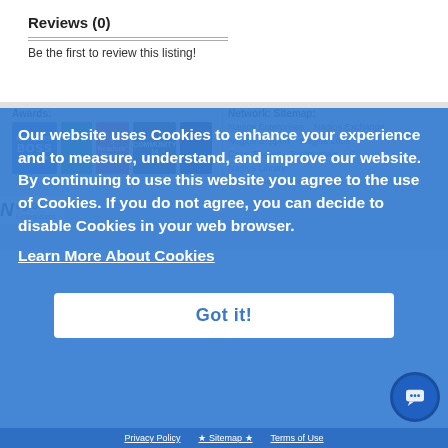Reviews (0)
Be the first to review this listing!
[Figure (screenshot): Footer section with Awards and Network/Sitemap columns, showing award badge images and links to Nagios Enterprises, Nagios Exchange, Nagios Support, Nagios Labs, Case Studies, Testimonials, Nagios Library, Terms of Use, Privacy Policy]
[Figure (screenshot): Cookie consent overlay on blue background with text: Our website uses Cookies to enhance your experience and to measure, understand, and improve our website. By continuing to use this website you agree to the use of Cookies. If you do not agree, you can decide to disable Cookies in your web browser. Learn More About Cookies. Got it! button.]
Our website uses Cookies to enhance your experience and to measure, understand, and improve our website. By continuing to use this website you agree to the use of Cookies. If you do not agree, you can decide to disable Cookies in your web browser.
Learn More About Cookies
Got it!